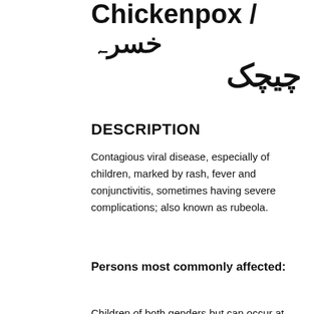Chickenpox / خسرہ
چیچک
DESCRIPTION
Contagious viral disease, especially of children, marked by rash, fever and conjunctivitis, sometimes having severe complications; also known as rubeola.
Persons most commonly affected:
Children of both genders but can occur at any age in people not immunized or previously exposed to the infection.
Organ or part of body involved: